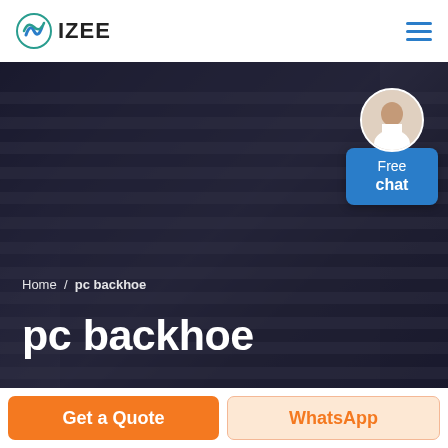IZEE
[Figure (screenshot): Hero banner with dark overlay showing a person in a striped sweater. Shows breadcrumb 'Home / pc backhoe' and large white bold title 'pc backhoe'. A Free chat widget with avatar and blue button appears top right.]
Home / pc backhoe
pc backhoe
Get a Quote
WhatsApp